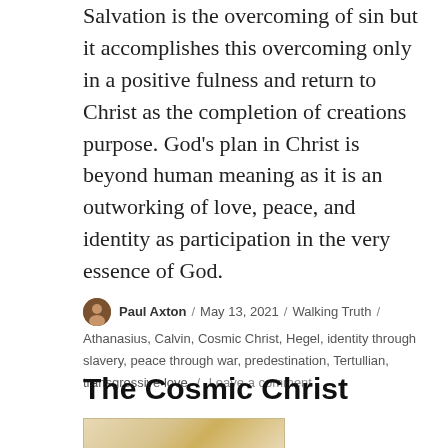Salvation is the overcoming of sin but it accomplishes this overcoming only in a positive fulness and return to Christ as the completion of creations purpose. God's plan in Christ is beyond human meaning as it is an outworking of love, peace, and identity as participation in the very essence of God.
Paul Axton / May 13, 2021 / Walking Truth / Athanasius, Calvin, Cosmic Christ, Hegel, identity through slavery, peace through war, predestination, Tertullian, transgressive love / Leave a comment
The Cosmic Christ
[Figure (photo): A partially visible aged/antique document or manuscript image at the bottom of the page]